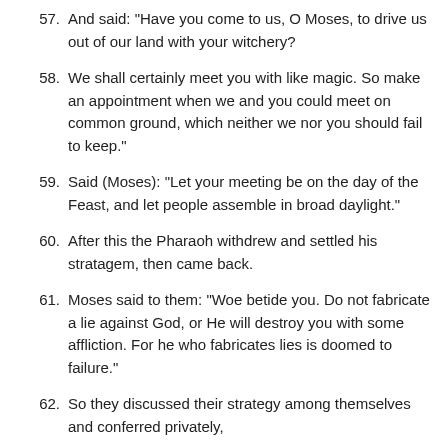57. And said: "Have you come to us, O Moses, to drive us out of our land with your witchery?
58. We shall certainly meet you with like magic. So make an appointment when we and you could meet on common ground, which neither we nor you should fail to keep."
59. Said (Moses): "Let your meeting be on the day of the Feast, and let people assemble in broad daylight."
60. After this the Pharaoh withdrew and settled his stratagem, then came back.
61. Moses said to them: "Woe betide you. Do not fabricate a lie against God, or He will destroy you with some affliction. For he who fabricates lies is doomed to failure."
62. So they discussed their strategy among themselves and conferred privately,